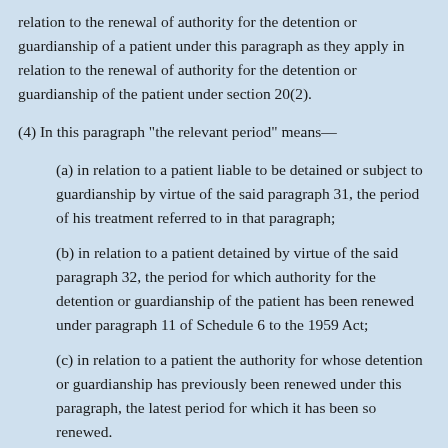relation to the renewal of authority for the detention or guardianship of a patient under this paragraph as they apply in relation to the renewal of authority for the detention or guardianship of the patient under section 20(2).
(4) In this paragraph "the relevant period" means—
(a) in relation to a patient liable to be detained or subject to guardianship by virtue of the said paragraph 31, the period of his treatment referred to in that paragraph;
(b) in relation to a patient detained by virtue of the said paragraph 32, the period for which authority for the detention or guardianship of the patient has been renewed under paragraph 11 of Schedule 6 to the 1959 Act;
(c) in relation to a patient the authority for whose detention or guardianship has previously been renewed under this paragraph, the latest period for which it has been so renewed.